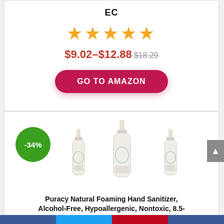EC
[Figure (illustration): Five gold star rating icons in a row]
$9.02–$12.88 $18.29
GO TO AMAZON
[Figure (illustration): -34% discount badge (green circle) and product photo of three Puracy Natural Foaming Hand Sanitizer bottles]
Puracy Natural Foaming Hand Sanitizer, Alcohol-Free, Hypoallergenic, Nontoxic, 8.5-